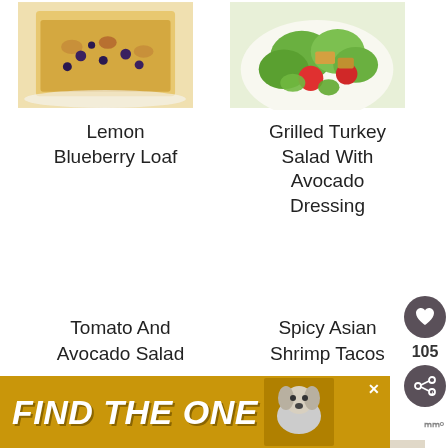[Figure (photo): Lemon blueberry loaf sliced on white plate]
Lemon Blueberry Loaf
[Figure (photo): Grilled turkey salad with avocado dressing in bowl]
Grilled Turkey Salad With Avocado Dressing
[Figure (photo): Tomato and avocado salad]
Tomato And Avocado Salad
[Figure (photo): Spicy Asian shrimp tacos]
Spicy Asian Shrimp Tacos
[Figure (infographic): Advertisement banner: FIND THE ONE with dog image]